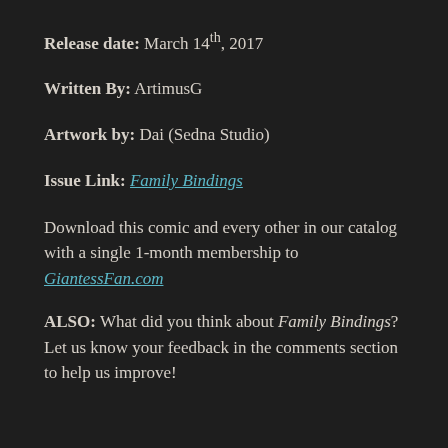Release date: March 14th, 2017
Written By: ArtimusG
Artwork by: Dai (Sedna Studio)
Issue Link: Family Bindings
Download this comic and every other in our catalog with a single 1-month membership to GiantessFan.com
ALSO: What did you think about Family Bindings? Let us know your feedback in the comments section to help us improve!